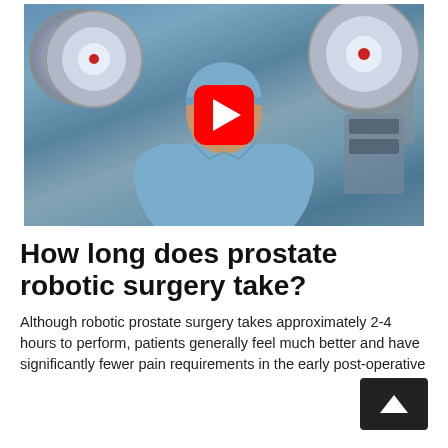[Figure (photo): A surgeon in blue scrubs and surgical cap in an operating room, with large surgical lights visible in the background. A YouTube play button overlay is centered on the image.]
How long does prostate robotic surgery take?
Although robotic prostate surgery takes approximately 2-4 hours to perform, patients generally feel much better and have significantly fewer pain requirements in the early post-operative